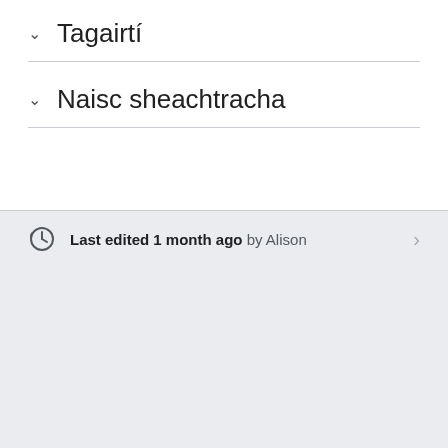Tagairtí
Naisc sheachtracha
Last edited 1 month ago by Alison
Redirected from "Duais Nobel san Fhisic"